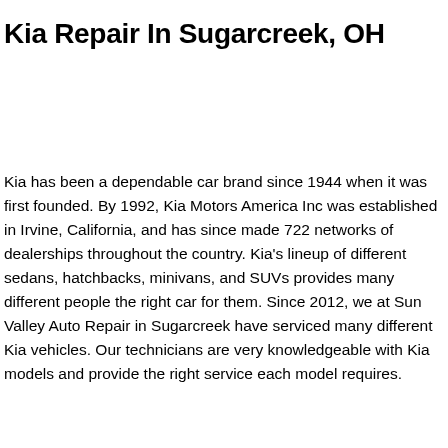Kia Repair In Sugarcreek, OH
Kia has been a dependable car brand since 1944 when it was first founded. By 1992, Kia Motors America Inc was established in Irvine, California, and has since made 722 networks of dealerships throughout the country. Kia's lineup of different sedans, hatchbacks, minivans, and SUVs provides many different people the right car for them. Since 2012, we at Sun Valley Auto Repair in Sugarcreek have serviced many different Kia vehicles. Our technicians are very knowledgeable with Kia models and provide the right service each model requires.